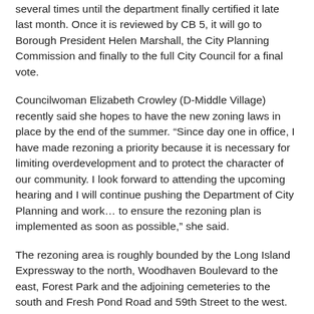several times until the department finally certified it late last month. Once it is reviewed by CB 5, it will go to Borough President Helen Marshall, the City Planning Commission and finally to the full City Council for a final vote.
Councilwoman Elizabeth Crowley (D-Middle Village) recently said she hopes to have the new zoning laws in place by the end of the summer. “Since day one in office, I have made rezoning a priority because it is necessary for limiting overdevelopment and to protect the character of our community. I look forward to attending the upcoming hearing and I will continue pushing the Department of City Planning and work… to ensure the rezoning plan is implemented as soon as possible,” she said.
The rezoning area is roughly bounded by the Long Island Expressway to the north, Woodhaven Boulevard to the east, Forest Park and the adjoining cemeteries to the south and Fresh Pond Road and 59th Street to the west.
The proposal’s goal, according to DCP, is to replace the existing, out-of-date zoning “with newer, lower density and